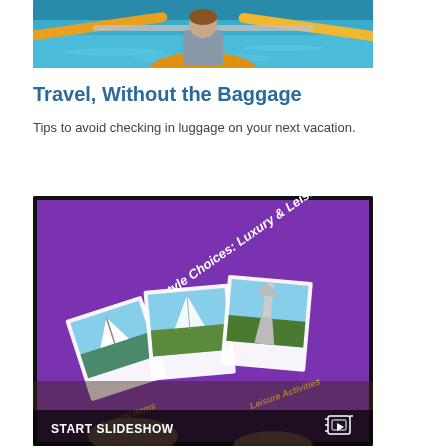[Figure (photo): Person kayaking in a yellow kayak on blue-green water, holding a paddle with yellow blades, view from behind]
Travel, Without the Baggage
Tips to avoid checking in luggage on your next vacation.
[Figure (photo): Person holding a tablet showing a purple screen titled 'Lifestyle Choices: Luxury & Leisure' with polaroid-style travel photos (sailboat, Eiffel Tower) and text 'Leisure Activities'. Bottom bar reads 'START SLIDESHOW' with a slideshow icon.]